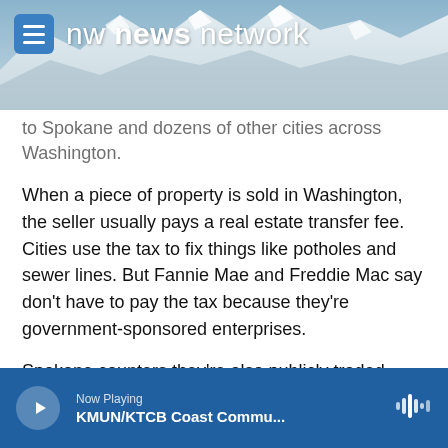[Figure (photo): NW News Network header with mountain background photo and hamburger menu icon, logo text 'nw news network']
to Spokane and dozens of other cities across Washington.
When a piece of property is sold in Washington, the seller usually pays a real estate transfer fee. Cities use the tax to fix things like potholes and sewer lines. But Fannie Mae and Freddie Mac say don't have to pay the tax because they're government-sponsored enterprises.
Spokane counters they're also publicly traded companies, that have sold hundreds of foreclosed homes in Spokane since the housing crash.
Now Playing KMUN/KTCB Coast Commu...